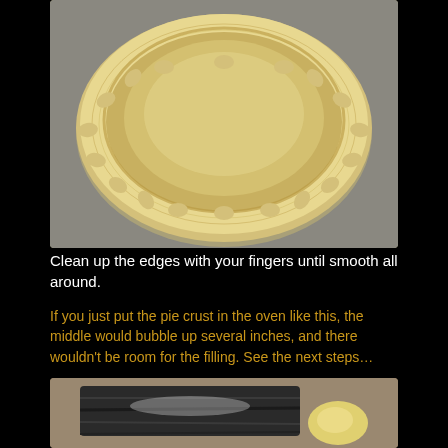[Figure (photo): Top-down view of an unbaked pie crust pressed into a pie dish, showing the crimped edges and smooth center, on a gray countertop background.]
Clean up the edges with your fingers until smooth all around.
If you just put the pie crust in the oven like this, the middle would bubble up several inches, and there wouldn't be room for the filling. See the next steps…
[Figure (photo): Partial view of a baking tool (rolling pin or similar dark pastry board) with some butter or dough on a countertop.]